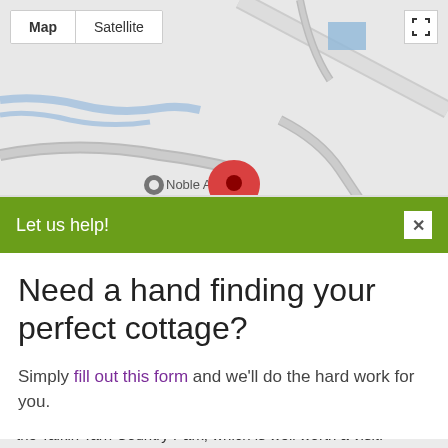[Figure (screenshot): Google Maps screenshot showing a map area with roads, a red location pin marker over 'Milton', a gray location pin labeled 'Noble A', map controls including 'Map' and 'Satellite' toggle buttons in top left, and a fullscreen icon in top right.]
Let us help!
Need a hand finding your perfect cottage?
Simply fill out this form and we'll do the hard work for you.
powered yacht, Cumbria is the perfect holiday destination.
Milton is a small rural village, which is perfectly placed to visit Hadrian's Wall and the Lake District National Park. Just two miles away is the market town of Brampton, and close by is the Talkin Tarn Country Park, which is well worth a visit.